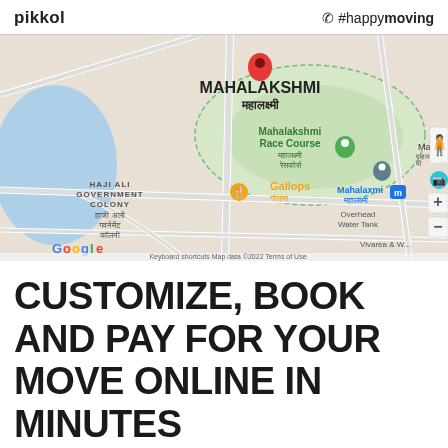pikkol   📞 #happymoving
[Figure (map): Google Maps screenshot showing Mahalakshmi area in Mumbai, India. Shows Mahalakshmi Race Course (महालक्ष्मी रेसकोर्स), Haji Ali Government Colony (हाजी अली गवर्नमेंट कॉलनी), Gallops restaurant, Mahalaxmi Metro station, Overhead Water Tank. Red location pin dropped at Mahalakshmi. Map data ©2022.]
CUSTOMIZE, BOOK AND PAY FOR YOUR MOVE ONLINE IN MINUTES